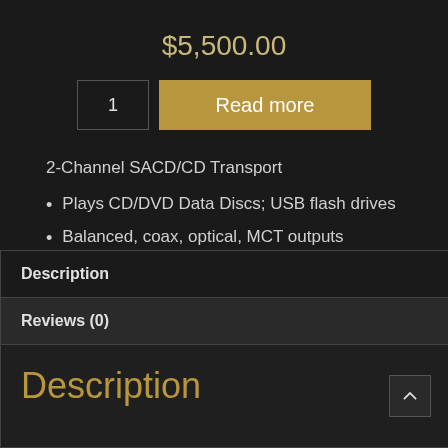$5,500.00
1  Read more
2-Channel SACD/CD Transport
Plays CD/DVD Data Discs; USB flash drives
Balanced, coax, optical, MCT outputs
Description
Reviews (0)
Description